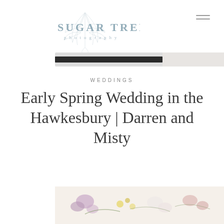[Figure (logo): Sugar Tree Photography logo with decorative leaf/botanical illustration in muted blue-gray tones]
[Figure (photo): Partial view of what appears to be a wedding photo strip at the top, showing a dark horizontal bar]
WEDDINGS
Early Spring Wedding in the Hawkesbury | Darren and Misty
[Figure (photo): Bottom crop of a floral arrangement photo with purple, yellow, and white flowers]